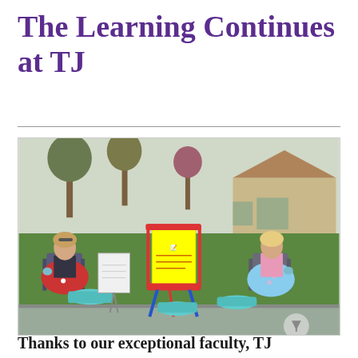The Learning Continues at TJ
[Figure (photo): Two women sitting in folding chairs outdoors on a suburban lawn, socially distanced, with colorful easels and tubs between them. One wears a dark sweatshirt and floral blanket, the other a pink hoodie and patterned blanket. Trees and a house are visible in the background.]
Thanks to our exceptional faculty, TJ